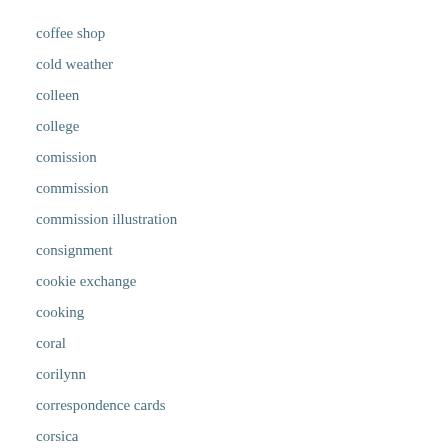coffee shop
cold weather
colleen
college
comission
commission
commission illustration
consignment
cookie exchange
cooking
coral
corilynn
correspondence cards
corsica
cosmetics